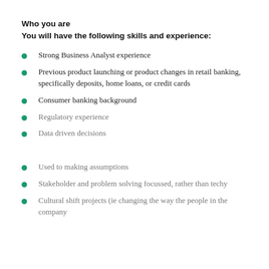Who you are
You will have the following skills and experience:
Strong Business Analyst experience
Previous product launching or product changes in retail banking, specifically deposits, home loans, or credit cards
Consumer banking background
Regulatory experience
Data driven decisions
Used to making assumptions
Stakeholder and problem solving focussed, rather than techy
Cultural shift projects (ie changing the way the people in the company